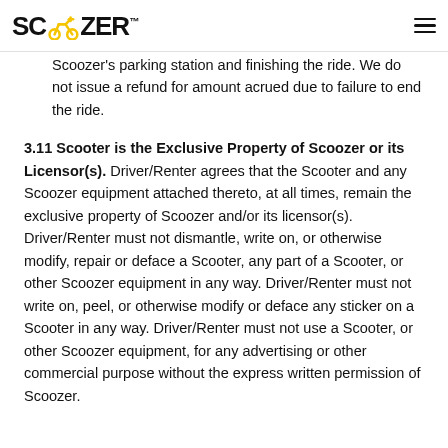SCOOZER
Scoozer's parking station and finishing the ride. We do not issue a refund for amount acrued due to failure to end the ride.
3.11 Scooter is the Exclusive Property of Scoozer or its Licensor(s). Driver/Renter agrees that the Scooter and any Scoozer equipment attached thereto, at all times, remain the exclusive property of Scoozer and/or its licensor(s). Driver/Renter must not dismantle, write on, or otherwise modify, repair or deface a Scooter, any part of a Scooter, or other Scoozer equipment in any way. Driver/Renter must not write on, peel, or otherwise modify or deface any sticker on a Scooter in any way. Driver/Renter must not use a Scooter, or other Scoozer equipment, for any advertising or other commercial purpose without the express written permission of Scoozer.